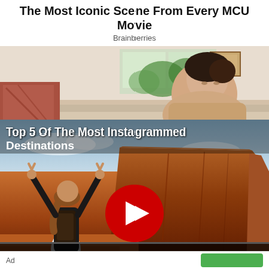The Most Iconic Scene From Every MCU Movie
Brainberries
[Figure (photo): Indoor photo of a young woman reclining on a sofa in a living room setting with plants and paintings visible in the background]
[Figure (screenshot): Video thumbnail for 'Top 5 Of The Most Instagrammed Destinations' showing a woman with arms raised facing Monument Valley rock formations, with a YouTube-style red play button overlay and video controls at the bottom including Ad label]